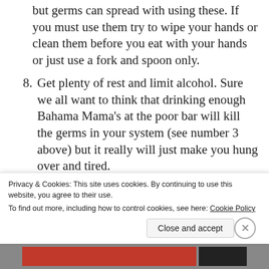but germs can spread with using these. If you must use them try to wipe your hands or clean them before you eat with your hands or just use a fork and spoon only.
8. Get plenty of rest and limit alcohol. Sure we all want to think that drinking enough Bahama Mama’s at the poor bar will kill the germs in your system (see number 3 above) but it really will just make you hung over and tired.
9. Don’t drink or even wash your teeth with the tap water in your room. The plumbing
Privacy & Cookies: This site uses cookies. By continuing to use this website, you agree to their use.
To find out more, including how to control cookies, see here: Cookie Policy
Close and accept